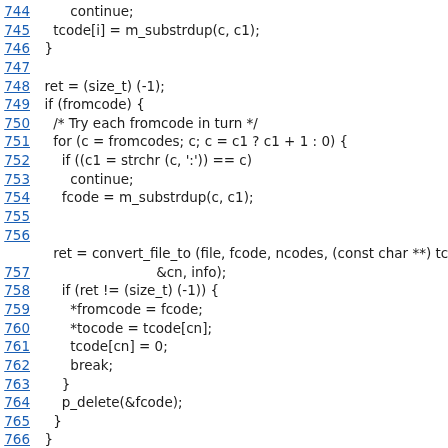[Figure (screenshot): Source code listing showing lines 744-767 of a C program involving charset conversion logic with fromcode/tocode handling.]